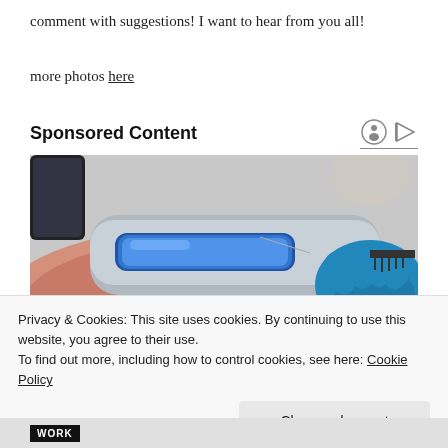comment with suggestions! I want to hear from you all!
more photos here
Sponsored Content
[Figure (photo): A medical or dermatology device being used on a person's hand with inflamed/irritated skin. Blue gloved hand holds a silver device with blue light element.]
Privacy & Cookies: This site uses cookies. By continuing to use this website, you agree to their use.
To find out more, including how to control cookies, see here: Cookie Policy
Close and accept